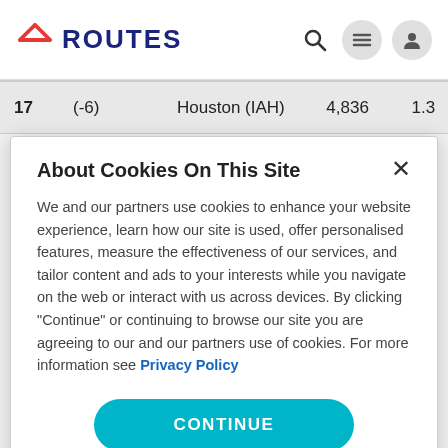ROUTES
| 17 | (-6) | Houston (IAH) | 4,836 | 1.3 |
About Cookies On This Site
We and our partners use cookies to enhance your website experience, learn how our site is used, offer personalised features, measure the effectiveness of our services, and tailor content and ads to your interests while you navigate on the web or interact with us across devices. By clicking "Continue" or continuing to browse our site you are agreeing to our and our partners use of cookies. For more information see Privacy Policy
CONTINUE